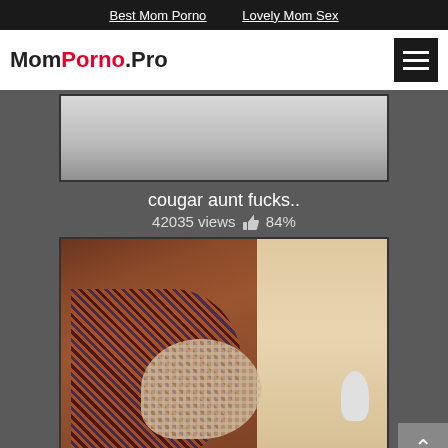Best Mom Porno   Lovely Mom Sex
MomPorno.Pro
[Figure (screenshot): Blurry video thumbnail showing light-colored content]
cougar aunt fucks..
42035 views 👍 84%
[Figure (photo): Photo showing woman in patterned dress/skirt with mesh fabric visible, watermark reads www.britishupskirtpantypervert.com]
British amateur..